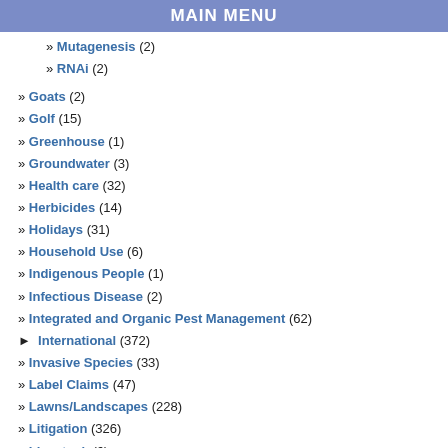MAIN MENU
» Mutagenesis (2)
» RNAi (2)
» Goats (2)
» Golf (15)
» Greenhouse (1)
» Groundwater (3)
» Health care (32)
» Herbicides (14)
» Holidays (31)
» Household Use (6)
» Indigenous People (1)
» Infectious Disease (2)
» Integrated and Organic Pest Management (62)
► International (372)
» Invasive Species (33)
» Label Claims (47)
» Lawns/Landscapes (228)
» Litigation (326)
» Livestock (6)
» Metabolites (3)
» Microbiata (15)
» Microbiome (16)
» Nanosilver (2)
» Nanotechnology (54)